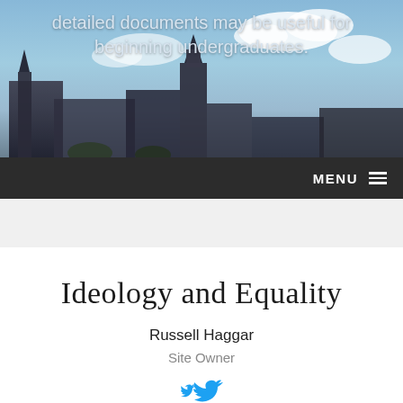[Figure (photo): Hero banner image showing a cityscape with buildings and a blue sky with clouds. Text overlaid on the image reads 'detailed documents may be useful for beginning undergraduates.']
detailed documents may be useful for beginning undergraduates.
MENU ☰
Ideology and Equality
Russell Haggar
Site Owner